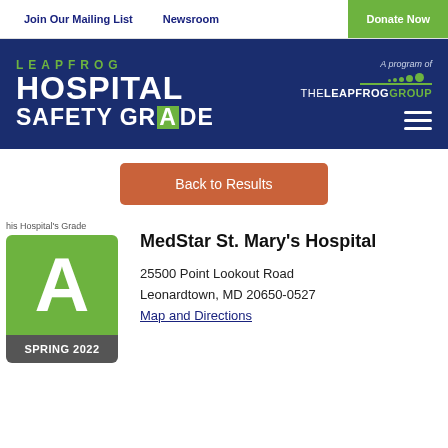Join Our Mailing List   Newsroom   Donate Now
[Figure (logo): Leapfrog Hospital Safety Grade logo with green and white text on dark blue background, alongside The Leapfrog Group program logo]
Back to Results
This Hospital's Grade
[Figure (infographic): Grade card showing letter A in white on green background with SPRING 2022 label on gray bar]
MedStar St. Mary's Hospital
25500 Point Lookout Road
Leonardtown, MD 20650-0527
Map and Directions